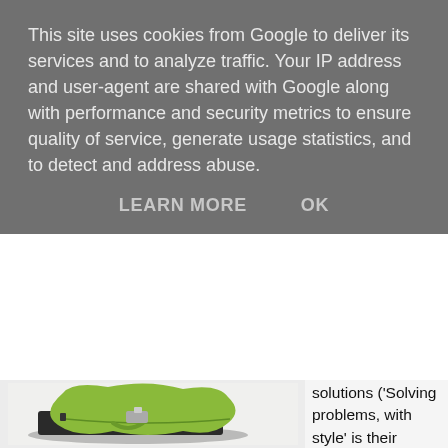This site uses cookies from Google to deliver its services and to analyze traffic. Your IP address and user-agent are shared with Google along with performance and security metrics to ensure quality of service, generate usage statistics, and to detect and address abuse.
LEARN MORE    OK
[Figure (photo): A green neoprene laptop sleeve/Electronic Pocket partially open, showing a dark laptop inside, with a handle visible, photographed on a white background.]
solutions ('Solving problems, with style' is their mantra). First is the neoprene Electronic Pocket which comes in three sizes and which is in...